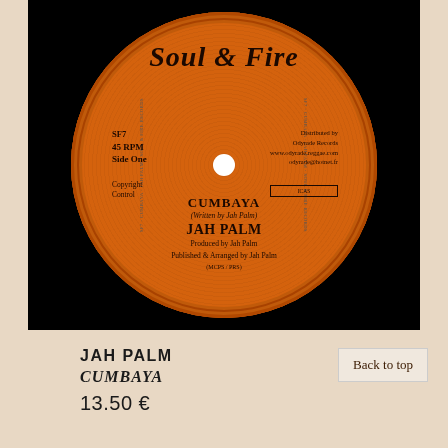[Figure (photo): Vinyl record label for Soul & Fire records. Orange label showing: SF7, 45 RPM, Side One, Copyright Control on left side. Distributed by Odyrade Records info on right. Center text: CUMBAYA, (Written by Jah Palm), JAH PALM, Produced by Jah Palm, Published & Arranged by Jah Palm, (MCPS / PRS)]
JAH PALM
CUMBAYA
13.50 €
Back to top